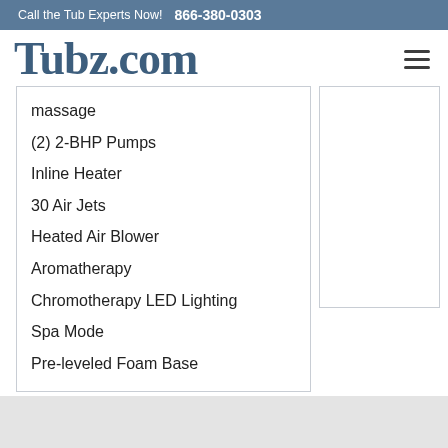Call the Tub Experts Now! 866-380-0303
Tubz.com
massage
(2) 2-BHP Pumps
Inline Heater
30 Air Jets
Heated Air Blower
Aromatherapy
Chromotherapy LED Lighting
Spa Mode
Pre-leveled Foam Base